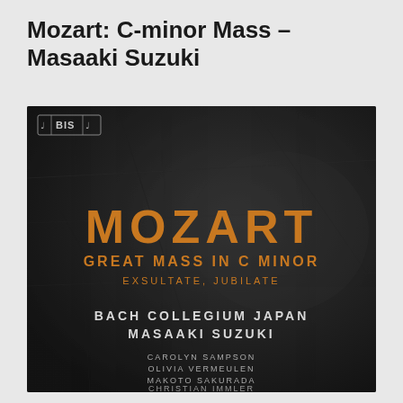Mozart: C-minor Mass – Masaaki Suzuki
[Figure (photo): Album cover for Mozart Great Mass in C Minor and Exsultate Jubilate performed by Bach Collegium Japan under Masaaki Suzuki, with soloists Carolyn Sampson, Olivia Vermeulen, Makoto Sakurada, and Christian Immler. Dark textured background with orange/gold typography. BIS record label logo in top left.]